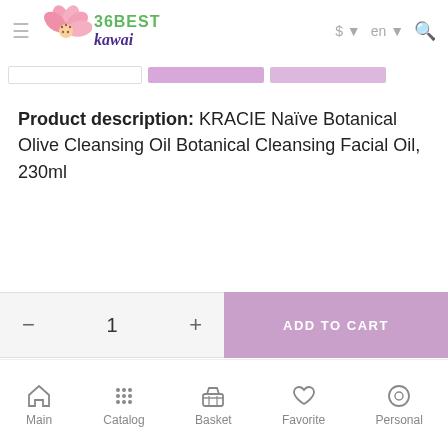36BEST kawai — $ en (search)
Product description: KRACIE Naïve Botanical Olive Cleansing Oil Botanical Cleansing Facial Oil, 230ml
Naïve Botanical is a cleaning series of products containing high-quality olive oil.
— 1 + ADD TO CART
Main  Catalog  Basket  Favorite  Personal